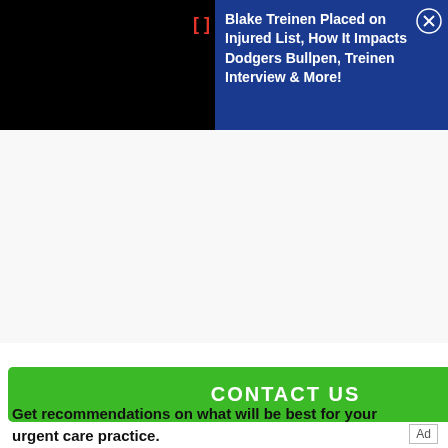[Figure (screenshot): Black rectangle on the left side of notification bar]
Blake Treinen Placed on Injured List, How It Impacts Dodgers Bullpen, Treinen Interview & More!
[Figure (screenshot): White/light gray empty content area]
[Figure (other): Green CONTACT US button advertisement]
Get recommendations on what will be best for your urgent care practice.
Ad